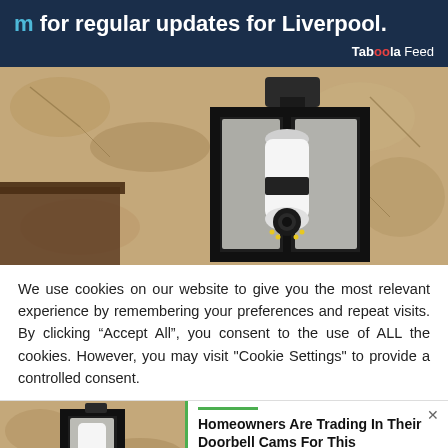m for regular updates for Liverpool.
Taboola Feed
[Figure (photo): A wall-mounted lantern-style outdoor light fixture with a camera disguised as a light bulb inside, mounted on a textured stone/stucco wall.]
We use cookies on our website to give you the most relevant experience by remembering your preferences and repeat visits. By clicking “Accept All”, you consent to the use of ALL the cookies. However, you may visit "Cookie Settings" to provide a controlled consent.
[Figure (photo): Partial view of the same or similar outdoor lantern light fixture with camera bulb on textured wall, cropped at bottom left.]
Homeowners Are Trading In Their Doorbell Cams For This
Happening Today | Sponsored